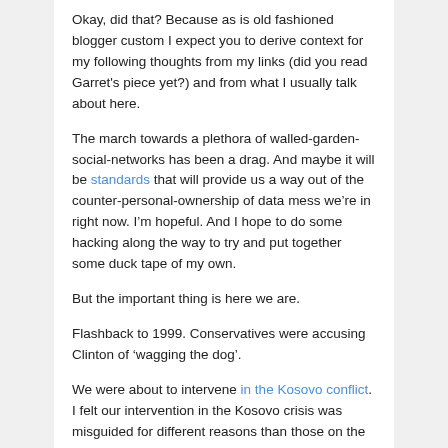Okay, did that? Because as is old fashioned blogger custom I expect you to derive context for my following thoughts from my links (did you read Garret's piece yet?) and from what I usually talk about here.
The march towards a plethora of walled-garden-social-networks has been a drag. And maybe it will be standards that will provide us a way out of the counter-personal-ownership of data mess we’re in right now. I’m hopeful. And I hope to do some hacking along the way to try and put together some duck tape of my own.
But the important thing is here we are.
Flashback to 1999. Conservatives were accusing Clinton of ‘wagging the dog’.
We were about to intervene in the Kosovo conflict. I felt our intervention in the Kosovo crisis was misguided for different reasons than those on the RIght. I felt that bombs couldn’t be the answer.